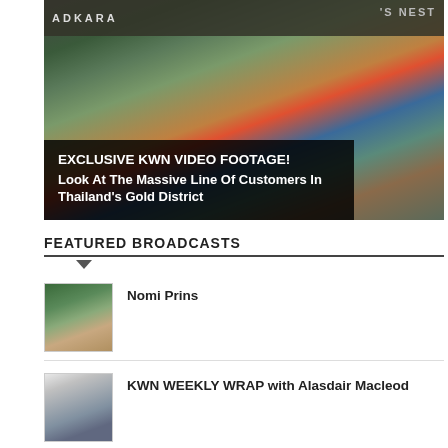[Figure (photo): Video thumbnail showing a crowd of customers lining up in Thailand's Gold District, with store signs visible at top including 'S NEST'. An overlay caption box reads 'EXCLUSIVE KWN VIDEO FOOTAGE! Look At The Massive Line Of Customers In Thailand's Gold District']
EXCLUSIVE KWN VIDEO FOOTAGE! Look At The Massive Line Of Customers In Thailand's Gold District
FEATURED BROADCASTS
[Figure (photo): Headshot of Nomi Prins, a woman with dark hair]
Nomi Prins
[Figure (photo): Headshot of Alasdair Macleod, a man in a suit with tie]
KWN WEEKLY WRAP with Alasdair Macleod